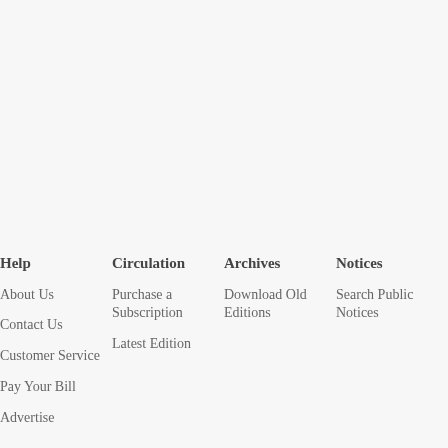Help
About Us
Contact Us
Customer Service
Pay Your Bill
Advertise
Circulation
Purchase a Subscription
Latest Edition
Archives
Download Old Editions
Notices
Search Public Notices